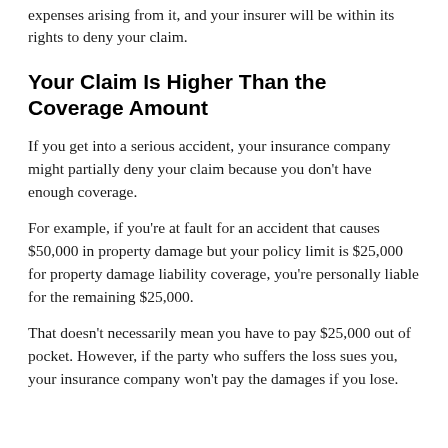expenses arising from it, and your insurer will be within its rights to deny your claim.
Your Claim Is Higher Than the Coverage Amount
If you get into a serious accident, your insurance company might partially deny your claim because you don't have enough coverage.
For example, if you're at fault for an accident that causes $50,000 in property damage but your policy limit is $25,000 for property damage liability coverage, you're personally liable for the remaining $25,000.
That doesn't necessarily mean you have to pay $25,000 out of pocket. However, if the party who suffers the loss sues you, your insurance company won't pay the damages if you lose.